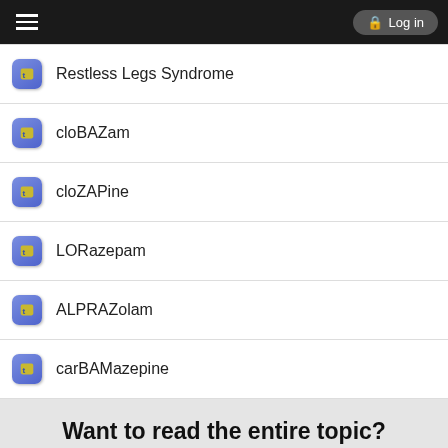Log in
Restless Legs Syndrome
cloBAZam
cloZAPine
LORazepam
ALPRAZolam
carBAMazepine
Want to read the entire topic?
Purchase a subscription
I'm already a subscriber
Browse sample topics